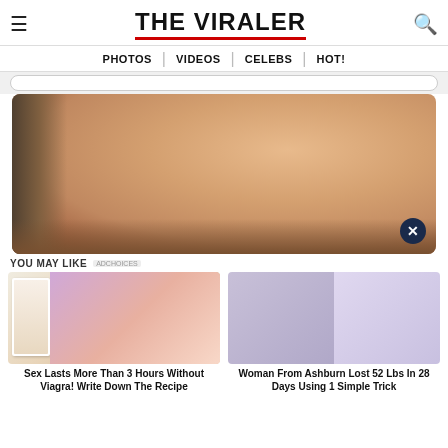THE VIRALER
PHOTOS | VIDEOS | CELEBS | HOT!
[Figure (photo): Close-up photo of a person's bare back/skin, warm skin tones]
YOU MAY LIKE
[Figure (photo): Advertisement image: doctor with cartoon illustration of couple - Sex Lasts More Than 3 Hours Without Viagra! Write Down The Recipe]
[Figure (photo): Advertisement image: two women in white and blue dresses - Woman From Ashburn Lost 52 Lbs In 28 Days Using 1 Simple Trick]
Sex Lasts More Than 3 Hours Without Viagra! Write Down The Recipe
Woman From Ashburn Lost 52 Lbs In 28 Days Using 1 Simple Trick